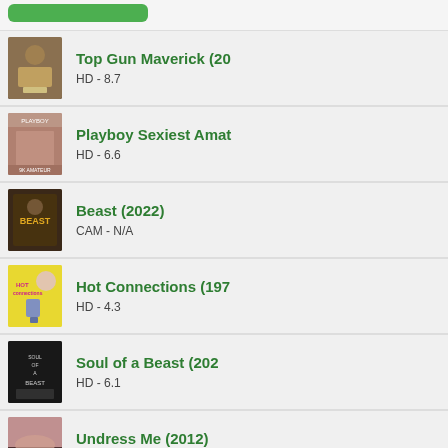Top Gun Maverick (20) — HD - 8.7
Playboy Sexiest Amat — HD - 6.6
Beast (2022) — CAM - N/A
Hot Connections (197) — HD - 4.3
Soul of a Beast (202) — HD - 6.1
Undress Me (2012) — SD - 5.6